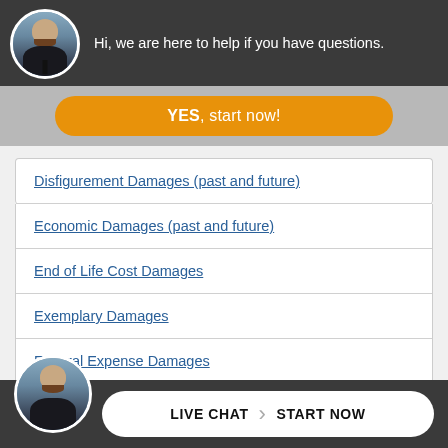[Figure (photo): Dark header bar with circular avatar of bearded man in suit and text: Hi, we are here to help if you have questions.]
[Figure (other): Orange rounded button labeled YES, start now!]
Disfigurement Damages (past and future)
Economic Damages (past and future)
End of Life Cost Damages
Exemplary Damages
Funeral Expense Damages
Future Economic Damages
General Damages
Gr... age (partially visible)
[Figure (other): Bottom dark bar with circular avatar and white pill button: LIVE CHAT > START NOW]